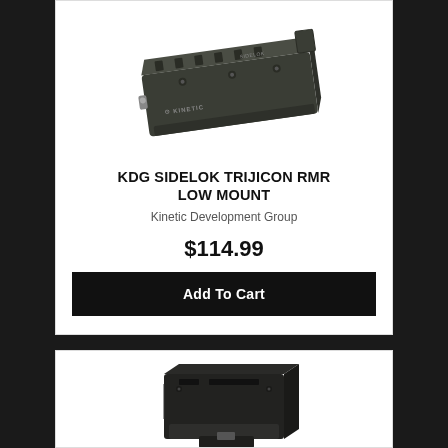[Figure (photo): KDG SIDELOK Trijicon RMR Low Mount product photo – a flat dark earth / OD green rectangular optic mount with KINETIC and SIDELOK branding, viewed at an angle]
KDG SIDELOK TRIJICON RMR LOW MOUNT
Kinetic Development Group
$114.99
Add To Cart
[Figure (photo): Second product – a black optic mount adapter, viewed from front-left angle, partially visible at bottom of page]